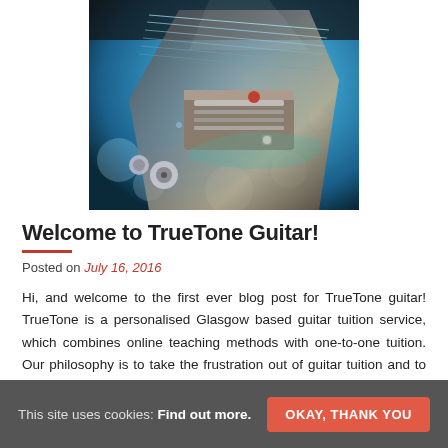[Figure (photo): Close-up macro photo of an electric guitar body, bridge, and strings with blue and teal color tones and bokeh lighting effects.]
Welcome to TrueTone Guitar!
Posted on July 16, 2016
Hi, and welcome to the first ever blog post for TrueTone guitar! TrueTone is a personalised Glasgow based guitar tuition service, which combines online teaching methods with one-to-one tuition. Our philosophy is to take the frustration out of guitar tuition and to make accessing your lessons and contacting your tutor as easy as
This site uses cookies: Find out more.  OKAY, THANK YOU